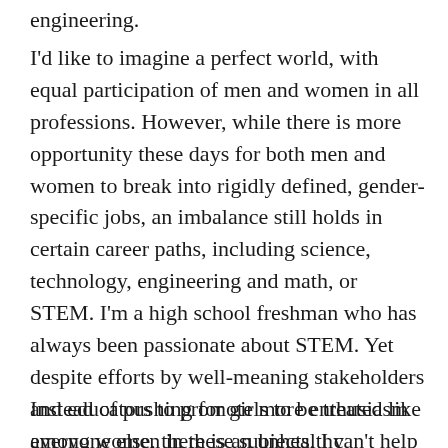engineering.
I'd like to imagine a perfect world, with equal participation of men and women in all professions. However, while there is more opportunity these days for both men and women to break into rigidly defined, gender-specific jobs, an imbalance still holds in certain career paths, including science, technology, engineering and math, or STEM. I'm a high school freshman who has always been passionate about STEM. Yet despite efforts by well-meaning stakeholders and educators to promote more enthusiasm among women in these subjects, I can't help but feel that today's inspiring message for girls in the field is too wrapped up in their gender.
Instead of pushing for girls to be treated like everyone else, there is an unhealthy obsession with